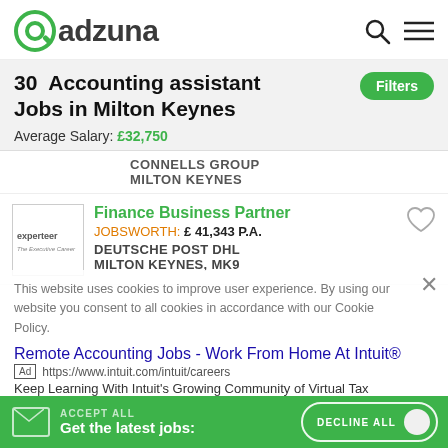adzuna
30  Accounting assistant Jobs in Milton Keynes
Average Salary: £32,750
CONNELLS GROUP
MILTON KEYNES
[Figure (logo): Experteer logo in a bordered box]
Finance Business Partner
JOBSWORTH: £ 41,343 P.A.
DEUTSCHE POST DHL
MILTON KEYNES, MK9
This website uses cookies to improve user experience. By using our website you consent to all cookies in accordance with our Cookie Policy.
Remote Accounting Jobs - Work From Home At Intuit®
Ad https://www.intuit.com/intuit/careers
Keep Learning With Intuit's Growing Community of Virtual Tax
Get the latest jobs: